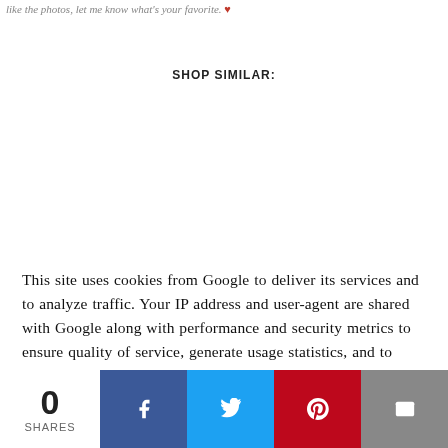like the photos, let me know what's your favorite. ♥
SHOP SIMILAR:
This site uses cookies from Google to deliver its services and to analyze traffic. Your IP address and user-agent are shared with Google along with performance and security metrics to ensure quality of service, generate usage statistics, and to detect and address abuse.
0 SHARES | Facebook | Twitter | Pinterest | Email